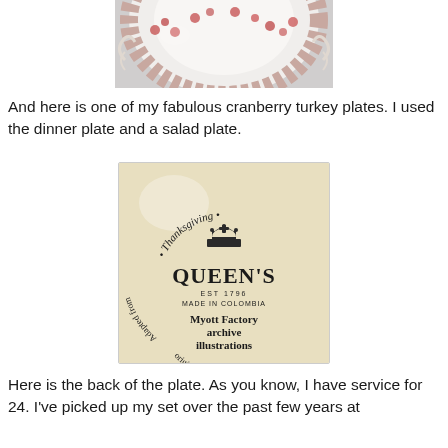[Figure (photo): Partial top view of a decorative cranberry turkey plate with red floral pattern on white background]
And here is one of my fabulous cranberry turkey plates. I used the dinner plate and a salad plate.
[Figure (photo): Back of the plate showing the Queen's brand mark: '•Thanksgiving•' text curved at top, a crown logo, 'QUEEN'S' in large text, 'EST 1796', 'MADE IN COLOMBIA', 'Myott Factory archive illustrations', curved text reading 'Adapted from original copper engravings']
Here is the back of the plate. As you know, I have service for 24. I've picked up my set over the past few years at